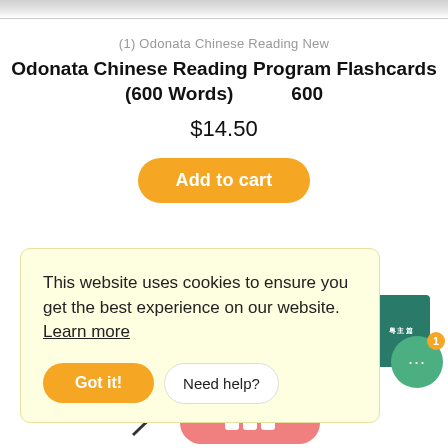[Figure (other): Top gradient bar representing top edge of a product image]
(1) Odonata Chinese Reading New
Odonata Chinese Reading Program Flashcards (600 Words) 600
$14.50
Add to cart
This website uses cookies to ensure you get the best experience on our website. Learn more
Got it!
Need help?
[Figure (photo): Small product thumbnail showing Chinese flashcard with green background]
[Figure (other): Green chat bubble icon with ellipsis, orange badge showing 1]
[Figure (other): Bottom partial strip with arrow and pink rounded button]